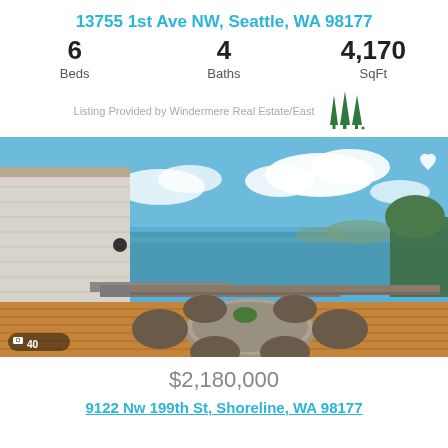13755 1st Ave NW, Seattle, WA 98177
6 Beds   4 Baths   4,170 SqFt
[Figure (logo): Windermere Real Estate logo - three green trees]
Listing Provided by Windermere Real Estate/East
[Figure (photo): Outdoor deck with round patio table and chairs, ocean/bay view in background, blue sky with clouds. Photo count indicator showing 40 photos.]
$2,180,000
9122 Nw 199th St, Shoreline, WA 98177